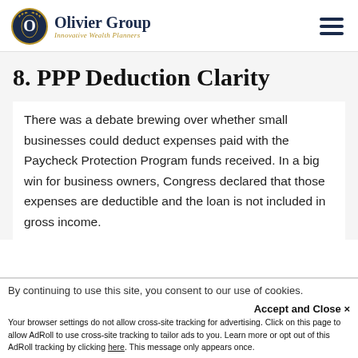[Figure (logo): Olivier Group logo with circular emblem and text 'Olivier Group / Innovative Wealth Planners']
8. PPP Deduction Clarity
There was a debate brewing over whether small businesses could deduct expenses paid with the Paycheck Protection Program funds received. In a big win for business owners, Congress declared that those expenses are deductible and the loan is not included in gross income.
By continuing to use this site, you consent to our use of cookies.
Accept and Close ×
Your browser settings do not allow cross-site tracking for advertising. Click on this page to allow AdRoll to use cross-site tracking to tailor ads to you. Learn more or opt out of this AdRoll tracking by clicking here. This message only appears once.